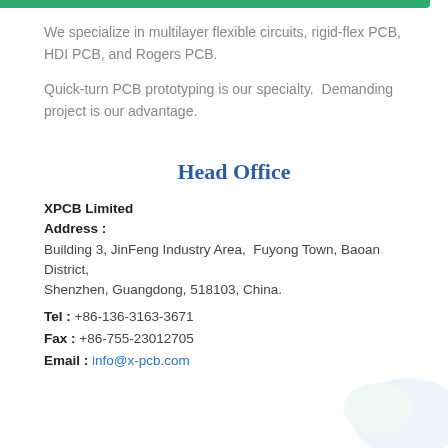We specialize in multilayer flexible circuits, rigid-flex PCB, HDI PCB, and Rogers PCB.
Quick-turn PCB prototyping is our specialty.  Demanding project is our advantage.
Head Office
XPCB Limited
Address :
Building 3, JinFeng Industry Area,  Fuyong Town, Baoan District, Shenzhen, Guangdong, 518103, China.
Tel : +86-136-3163-3671
Fax : +86-755-23012705
Email : info@x-pcb.com